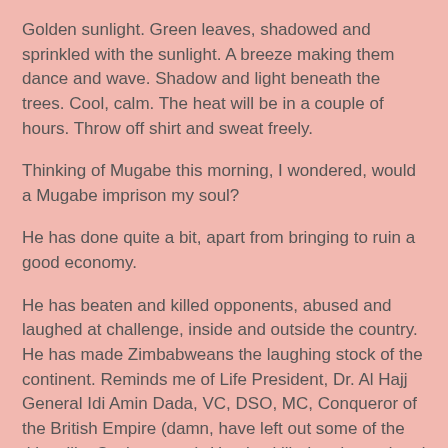Golden sunlight. Green leaves, shadowed and sprinkled with the sunlight. A breeze making them dance and wave. Shadow and light beneath the trees. Cool, calm. The heat will be in a couple of hours. Throw off shirt and sweat freely.
Thinking of Mugabe this morning, I wondered, would a Mugabe imprison my soul?
He has done quite a bit, apart from bringing to ruin a good economy.
He has beaten and killed opponents, abused and laughed at challenge, inside and outside the country. He has made Zimbabweans the laughing stock of the continent. Reminds me of Life President, Dr. Al Hajj General Idi Amin Dada, VC, DSO, MC, Conqueror of the British Empire (damn, have left out some of the titles, like Ssalongo etc). He also killed and raped and destroyed a country. Yet humanity is resilient.
Burma will come out of the ashes when the strangle hold of the generals is broken. So will North Korea. China is a bulging, burgeoning, feasthood of humanity.